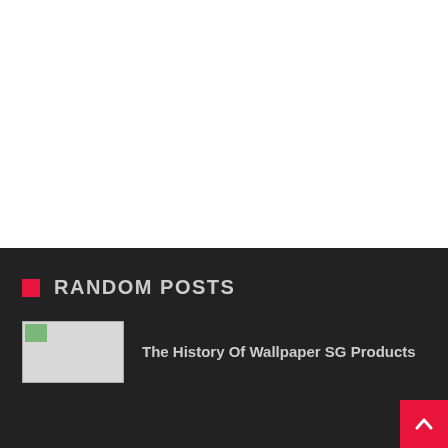RANDOM POSTS
The History Of Wallpaper SG Products
[Figure (other): Back to top button with upward chevron arrow, pink/red background, bottom right corner]